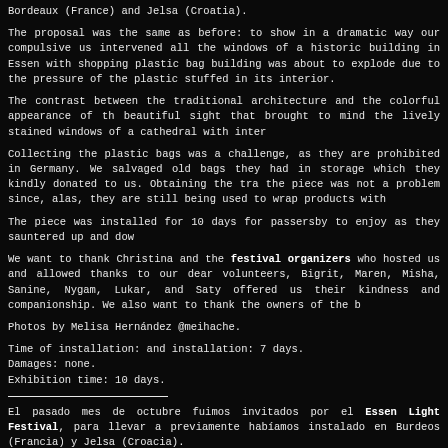Bordeaux (France) and Jelsa (Croatia).
The proposal was the same as before: to show in a dramatic way our compulsive us... intervened all the windows of a historic building in Essen with shopping plastic bag... building was about to explode due to the pressure of the plastic stuffed in its interior.
The contrast between the traditional architecture and the colorful appearance of th... beautiful sight that brought to mind the lively stained windows of a cathedral with inter...
Collecting the plastic bags was a challenge, as they are prohibited in Germany. We... salvaged old bags they had in storage which they kindly donated to us. Obtaining the tra... the piece was not a problem since, alas, they are still being used to wrap products with...
The piece was installed for 10 days for passersby to enjoy as they sauntered up and dow...
We want to thank Christina and the festival organizers who hosted us and allowed... thanks to our dear volunteers, Bigrit, Maren, Misha, Sanine, Nygam, Lukar, and Saty... offered us their kindness and companionship. We also want to thank the owners of the b...
Photos by Melisa Hernández @meihache.
Time of installation: and installation: 7 days.
Damages: none.
Exhibition time: 10 days.
El pasado mes de octubre fuimos invitados por el Essen Light Festival, para llevar a... previamente habíamos instalado en Burdeos (Francia) y Jelsa (Croacia).